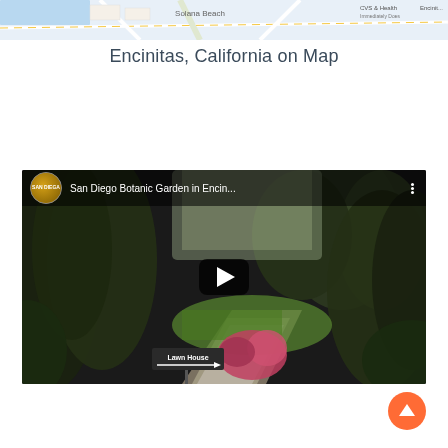[Figure (map): Google Maps strip showing Encinitas California coastal area with Solana Beach label visible]
Encinitas, California on Map
[Figure (screenshot): YouTube video thumbnail showing San Diego Botanic Garden in Encinitas with garden path, lush greenery, pink plants, and a Lawn House sign. Video title: San Diego Botanic Garden in Encin... with San Diego channel avatar and play button overlay.]